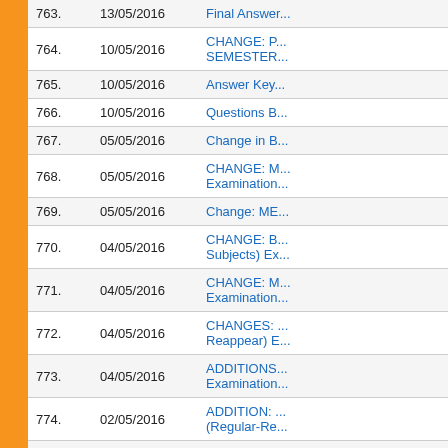| # | Date | Title |
| --- | --- | --- |
| 763. | 13/05/2016 | Final Answer... |
| 764. | 10/05/2016 | CHANGE: P... SEMESTER... |
| 765. | 10/05/2016 | Answer Key... |
| 766. | 10/05/2016 | Questions B... |
| 767. | 05/05/2016 | Change in B... |
| 768. | 05/05/2016 | CHANGE: M... Examination... |
| 769. | 05/05/2016 | Change: ME... |
| 770. | 04/05/2016 | CHANGE: B... Subjects) Ex... |
| 771. | 04/05/2016 | CHANGE: M... Examination... |
| 772. | 04/05/2016 | CHANGES: ... Reappear) E... |
| 773. | 04/05/2016 | ADDITIONS... Examination... |
| 774. | 02/05/2016 | ADDITION: ... (Regular-Re... |
| 775. | 30/04/2016 | CHANGE: i... |